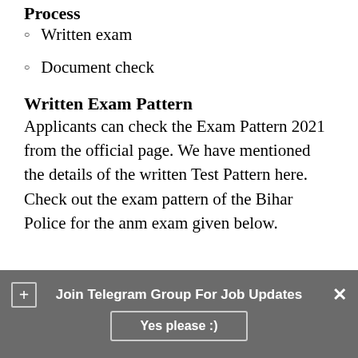Process
Written exam
Document check
Written Exam Pattern
Applicants can check the Exam Pattern 2021 from the official page. We have mentioned the details of the written Test Pattern here. Check out the exam pattern of the Bihar Police for the anm exam given below.
Join Telegram Group For Job Updates
Yes please :)